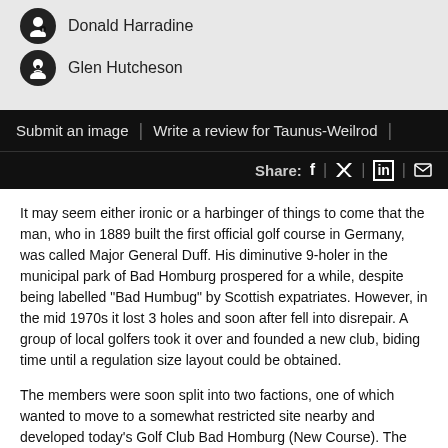Donald Harradine
Glen Hutcheson
Submit an image | Write a review for Taunus-Weilrod |
Share: f | 𝕏 | in | ✉
It may seem either ironic or a harbinger of things to come that the man, who in 1889 built the first official golf course in Germany, was called Major General Duff. His diminutive 9-holer in the municipal park of Bad Homburg prospered for a while, despite being labelled "Bad Humbug" by Scottish expatriates. However, in the mid 1970s it lost 3 holes and soon after fell into disrepair. A group of local golfers took it over and founded a new club, biding time until a regulation size layout could be obtained.
The members were soon split into two factions, one of which wanted to move to a somewhat restricted site nearby and developed today's Golf Club Bad Homburg (New Course). The second faction continued to operate the 6-holer, now called the Old Course, while venturing further afield to a more generous property